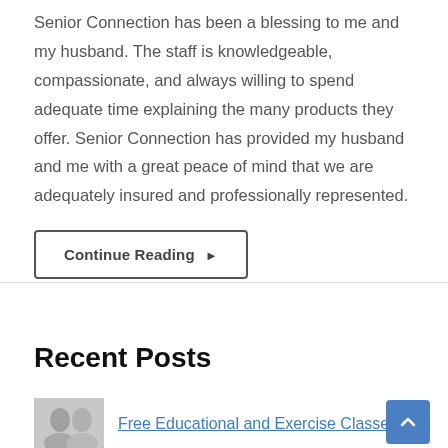Senior Connection has been a blessing to me and my husband. The staff is knowledgeable, compassionate, and always willing to spend adequate time explaining the many products they offer. Senior Connection has provided my husband and me with a great peace of mind that we are adequately insured and professionally represented.
Continue Reading ▶
Recent Posts
Free Educational and Exercise Classes for